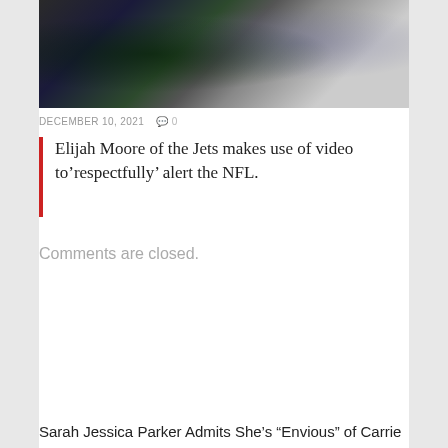[Figure (photo): Football players on a field, two players visible wearing jerseys numbered 8 and 6]
DECEMBER 10, 2021   💬 0
Elijah Moore of the Jets makes use of video to’respectfully’ alert the NFL.
Comments are closed.
Sarah Jessica Parker Admits She’s “Envious” of Carrie